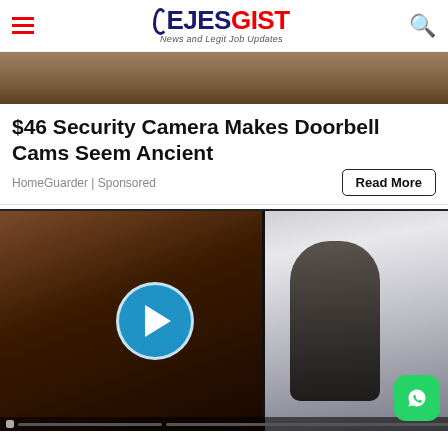EJESGIST - News and Legit Job Updates
[Figure (photo): Partial top image, cropped photo showing hands and objects against a textured background]
$46 Security Camera Makes Doorbell Cams Seem Ancient
HomeGuarder | Sponsored
[Figure (photo): Video player with two side-by-side video frames; left frame shows a dark close-up, right frame shows a person in a vehicle interior; a blue play button is centered; WhatsApp icon in bottom-right corner]